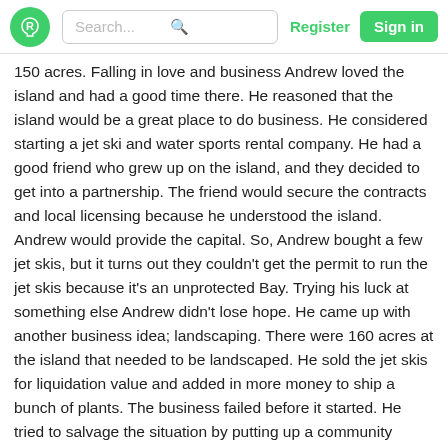Search... Register Sign in
150 acres. Falling in love and business Andrew loved the island and had a good time there. He reasoned that the island would be a great place to do business. He considered starting a jet ski and water sports rental company. He had a good friend who grew up on the island, and they decided to get into a partnership. The friend would secure the contracts and local licensing because he understood the island. Andrew would provide the capital. So, Andrew bought a few jet skis, but it turns out they couldn't get the permit to run the jet skis because it's an unprotected Bay. Trying his luck at something else Andrew didn't lose hope. He came up with another business idea; landscaping. There were 160 acres at the island that needed to be landscaped. He sold the jet skis for liquidation value and added in more money to ship a bunch of plants. The business failed before it started. He tried to salvage the situation by putting up a community center, park, and restaurant on an oceanfront piece of land his friend had. Death of friend and partnership Andrew's friend passed away unexpectedly. The business couldn't take off because Andrew and his friend's dad couldn't come to a fair agreement on